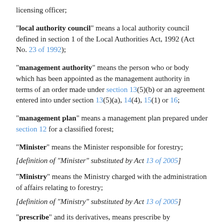licensing officer;
“local authority council” means a local authority council defined in section 1 of the Local Authorities Act, 1992 (Act No. 23 of 1992);
“management authority” means the person who or body which has been appointed as the management authority in terms of an order made under section 13(5)(b) or an agreement entered into under section 13(5)(a), 14(4), 15(1) or 16;
“management plan” means a management plan prepared under section 12 for a classified forest;
“Minister” means the Minister responsible for forestry;
[definition of “Minister” substituted by Act 13 of 2005]
“Ministry” means the Ministry charged with the administration of affairs relating to forestry;
[definition of “Ministry” substituted by Act 13 of 2005]
“prescribe” and its derivatives, means prescribe by